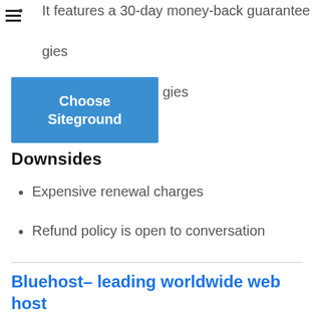It features a 30-day money-back guarantee
gies
[Figure (other): Blue button labeled 'Choose Siteground']
Downsides
Expensive renewal charges
Refund policy is open to conversation
Bluehost– leading worldwide web host
If you desire a brand-new website, then you need to decide to use the Bluehost as your host service provider. The company was produced in